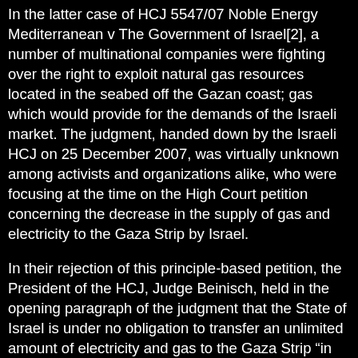In the latter case of HCJ 5547/07 Noble Energy Mediterranean v The Government of Israel[2], a number of multinational companies were fighting over the right to exploit natural gas resources located in the seabed off the Gazan coast; gas which would provide for the demands of the Israeli market. The judgment, handed down by the Israeli HCJ on 25 December 2007, was virtually unknown among activists and organizations alike, who were focusing at the time on the High Court petition concerning the decrease in the supply of gas and electricity to the Gaza Strip by Israel.
In their rejection of this principle-based petition, the President of the HCJ, Judge Beinisch, held in the opening paragraph of the judgment that the State of Israel is under no obligation to transfer an unlimited amount of electricity and gas to the Gaza Strip “in circumstances where some of these resources continue to sustain the terror organizations for the purpose of targeting Israeli civilians.”[3]
The HCJ in complete oblivion?
The State of Israel, acting as an occupying power, has been employing multinationals to exploit the natural gas resources of the Gaza Strip, whilst the entire Palestinian population throughout Gaza suffers from a severe shortage in petrol